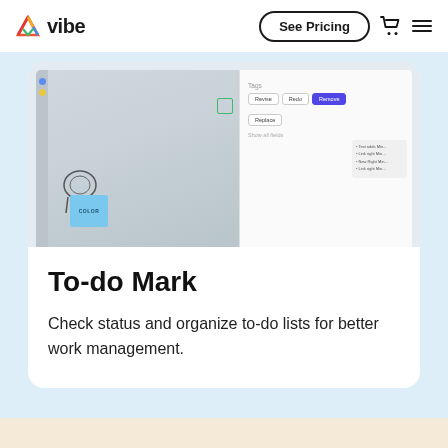Vibe — See Pricing
[Figure (screenshot): Screenshot of Vibe whiteboard application showing a canvas with chair image, sticky notes, color tools, and a right panel with Tags section showing Revise, Redo, Remove buttons and Replace option with Show all fields link]
To-do Mark
Check status and organize to-do lists for better work management.